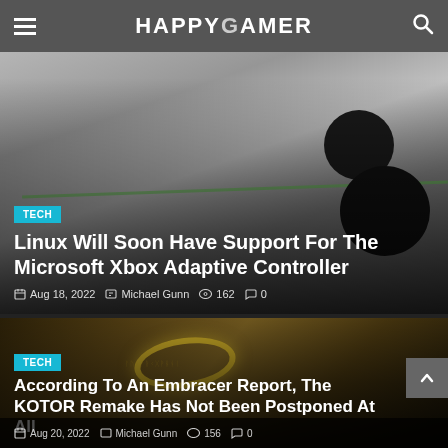HAPPYGAMER
[Figure (screenshot): Xbox Adaptive Controller product photo (white controller with large circular buttons and green trim) used as article card background]
Linux Will Soon Have Support For The Microsoft Xbox Adaptive Controller
Aug 18, 2022  Michael Gunn  162  0
[Figure (screenshot): Dark fantasy ring (One Ring from Lord of the Rings style) on parchment background, used as article card background]
According To An Embracer Report, The KOTOR Remake Has Not Been Postponed At All
Aug 20, 2022  Michael Gunn  156  0